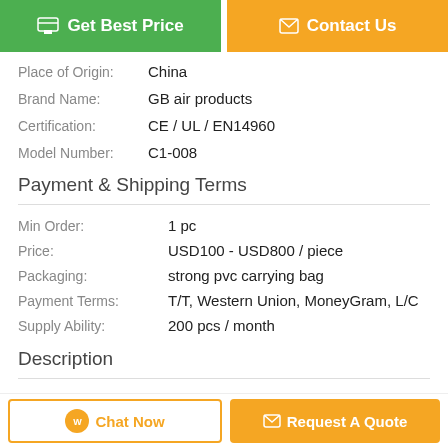[Figure (other): Two buttons: green 'Get Best Price' and orange 'Contact Us']
Place of Origin: China
Brand Name: GB air products
Certification: CE / UL / EN14960
Model Number: C1-008
Payment & Shipping Terms
Min Order: 1 pc
Price: USD100 - USD800 / piece
Packaging: strong pvc carrying bag
Payment Terms: T/T, Western Union, MoneyGram, L/C
Supply Ability: 200 pcs / month
Description
[Figure (other): Two bottom buttons: 'Chat Now' and 'Request A Quote']